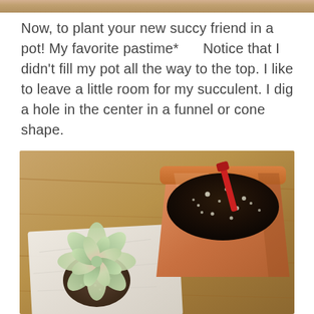[Figure (photo): Top strip of a photo visible at the top edge of the page]
Now, to plant your new succy friend in a pot! My favorite pastime*      Notice that I didn't fill my pot all the way to the top. I like to leave a little room for my succulent. I dig a hole in the center in a funnel or cone shape.
[Figure (photo): Photograph of a terra cotta pot filled with dark soil and a red gardening tool, next to a small succulent plant with bare roots resting on a white cloth, on a wooden table surface]